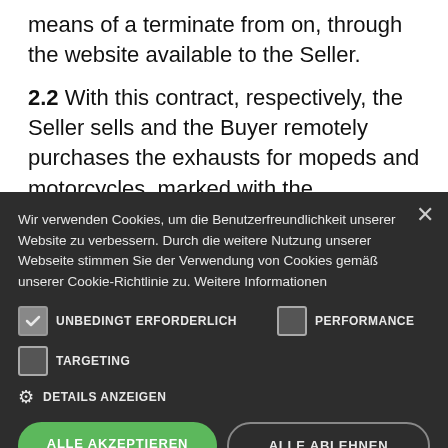means of a terminate from on, through the website available to the Seller.
2.2 With this contract, respectively, the Seller sells and the Buyer remotely purchases the exhausts for mopeds and motorcycles, marked with the "LeoVince" or "SilverTail" brand, illustrated in the electronic catalog of the Marketplace Site, available through the available for the
[Figure (screenshot): Cookie consent overlay on dark background with title, cookie options (UNBEDINGT ERFORDERLICH checked, PERFORMANCE unchecked, TARGETING unchecked), DETAILS ANZEIGEN option, and two buttons: ALLE AKZEPTIEREN (green) and ALLE ABLEHNEN (outline)]